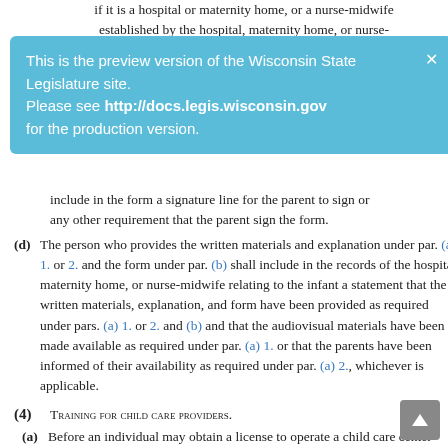if it is a hospital or maternity home, or a nurse-midwife established by the hospital, maternity home, or nurse-
[Figure (screenshot): Blue preview banner for the Wisconsin State Legislature site: 'This is the preview version of the Wisconsin State Legislature site. Please see http://docs.legis.wisconsin.gov for the production version.' with a close X button.]
include in the form a signature line for the parent to sign or any other requirement that the parent sign the form.
(d) The person who provides the written materials and explanation under par. (a) 1. or 2. and the form under par. (b) shall include in the records of the hospital, maternity home, or nurse-midwife relating to the infant a statement that the written materials, explanation, and form have been provided as required under pars. (a) 1. or 2. and (b) and that the audiovisual materials have been made available as required under par. (a) 1. or that the parents have been informed of their availability as required under par. (a) 2., whichever is applicable.
(4) Training for child care providers.
(a) Before an individual may obtain a license to operate a child care center under s. 48.65 for the care and supervision of children under 5 years of age or enter into a contract to provide a child care program under s. 120.13 (14) for the care and supervision of children under 5 years of age, the individual shall receive training relating to shaken baby